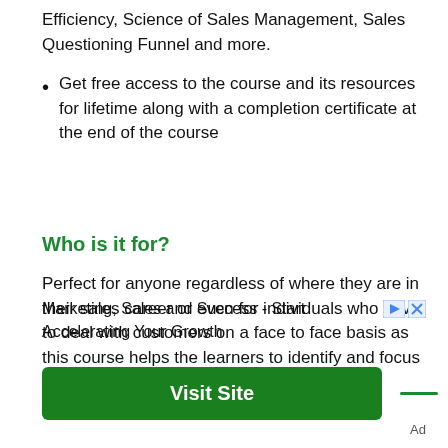Efficiency, Science of Sales Management, Sales Questioning Funnel and more.
Get free access to the course and its resources for lifetime along with a completion certificate at the end of the course
Who is it for?
Perfect for anyone regardless of where they are in their sales career or even for individuals who have to deal with customers on a face to face basis as this course helps the learners to identify and focus on presenting your offering in a way in which customers
Marketing, Sales and Success - Start Accelerating Your Growth
Visit Site
Ad